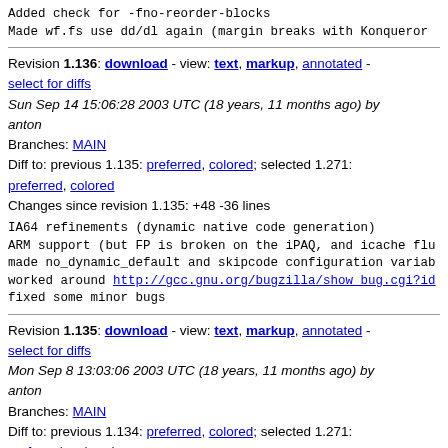Added check for -fno-reorder-blocks
Made wf.fs use dd/dl again (margin breaks with Konqueror)
Revision 1.136: download - view: text, markup, annotated - select for diffs
Sun Sep 14 15:06:28 2003 UTC (18 years, 11 months ago) by anton
Branches: MAIN
Diff to: previous 1.135: preferred, colored; selected 1.271: preferred, colored
Changes since revision 1.135: +48 -36 lines
IA64 refinements (dynamic native code generation)
ARM support (but FP is broken on the iPAQ, and icache flu
made no_dynamic_default and skipcode configuration variab
worked around http://gcc.gnu.org/bugzilla/show_bug.cgi?id
fixed some minor bugs
Revision 1.135: download - view: text, markup, annotated - select for diffs
Mon Sep 8 13:03:06 2003 UTC (18 years, 11 months ago) by anton
Branches: MAIN
Diff to: previous 1.134: preferred, colored; selected 1.271: preferred, colored
Changes since revision 1.134: +6 -0 lines